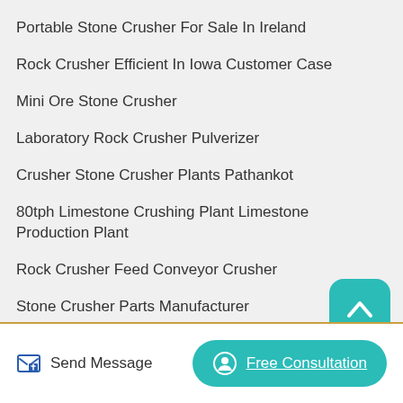Portable Stone Crusher For Sale In Ireland
Rock Crusher Efficient In Iowa Customer Case
Mini Ore Stone Crusher
Laboratory Rock Crusher Pulverizer
Crusher Stone Crusher Plants Pathankot
80tph Limestone Crushing Plant Limestone Production Plant
Rock Crusher Feed Conveyor Crusher
Stone Crusher Parts Manufacturer
Crusher Stone Prices In Sa 13639
Crusher Production Prices Rock
[Figure (illustration): Teal rounded square button with upward chevron arrow icon (scroll to top button)]
Send Message | Free Consultation